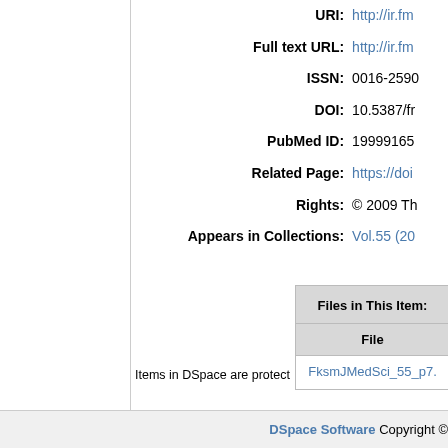| Label | Value |
| --- | --- |
| URI: | http://ir.fm... |
| Full text URL: | http://ir.fm... |
| ISSN: | 0016-2590... |
| DOI: | 10.5387/fr... |
| PubMed ID: | 19999165... |
| Related Page: | https://doi... |
| Rights: | © 2009 Th... |
| Appears in Collections: | Vol.55 (20... |
Files in This Item:
File
FksmJMedSci_55_p7...
Items in DSpace are protect...
DSpace Software Copyright ©